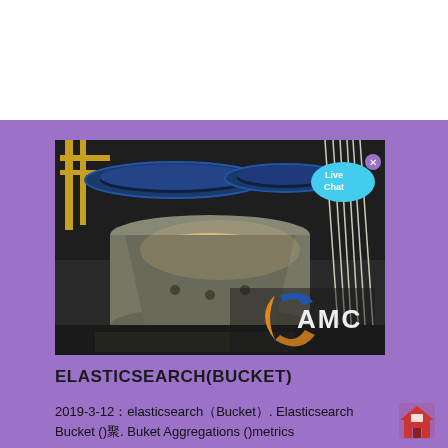[Figure (photo): Industrial machinery photo showing large circular disc-shaped equipment with blue and yellow structural elements, cables, and AMC logo overlay. Live Chat bubble visible in top-right corner of image.]
ELASTICSEARCH(BUCKET)
2019-3-12：elasticsearch（Bucket）. Elasticsearch Bucket ()聚. Buket Aggregations ()metrics